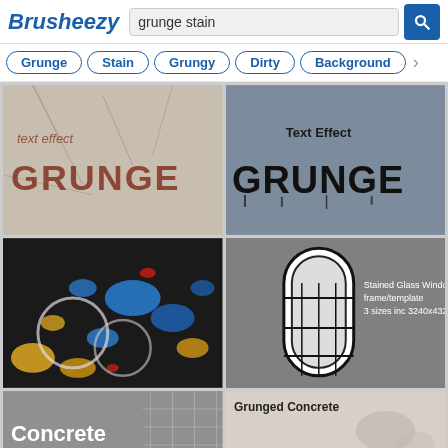Brusheezy — grunge stain search page
Grunge
Stain
Grungy
Dirty
Background
[Figure (screenshot): Text Effect GRUNGE — cracked concrete background with red-brown stencil grunge text]
[Figure (screenshot): Text Effect GRUNGE — dark blue/grey grunge background with black gothic GRUNGE text with drips]
[Figure (screenshot): Abstract grunge stain splatter — dark background with blue, yellow, and red paint splatters and white circle rings]
[Figure (screenshot): Stained Glass Window frame/template — black and grey illustration of gothic stained glass window. 3 sizes inc 3240x4320]
[Figure (screenshot): Concrete texture — grey concrete with grid overlay, white bold text 'Concrete']
[Figure (screenshot): Grunged Concrete — light grunge concrete texture label at top left]